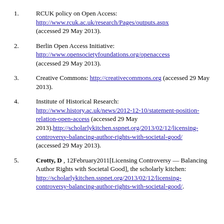1. RCUK policy on Open Access: http://www.rcuk.ac.uk/research/Pages/outputs.aspx (accessed 29 May 2013).
2. Berlin Open Access Initiative: http://www.opensocietyfoundations.org/openaccess (accessed 29 May 2013).
3. Creative Commons: http://creativecommons.org (accessed 29 May 2013).
4. Institute of Historical Research: http://www.history.ac.uk/news/2012-12-10/statement-position-relation-open-access (accessed 29 May 2013). http://scholarlykitchen.sspnet.org/2013/02/12/licensing-controversy-balancing-author-rights-with-societal-good/ (accessed 29 May 2013).
5. Crotty, D , 12February2011[Licensing Controversy — Balancing Author Rights with Societal Good], the scholarly kitchen: http://scholarlykitchen.sspnet.org/2013/02/12/licensing-controversy-balancing-author-rights-with-societal-good/.